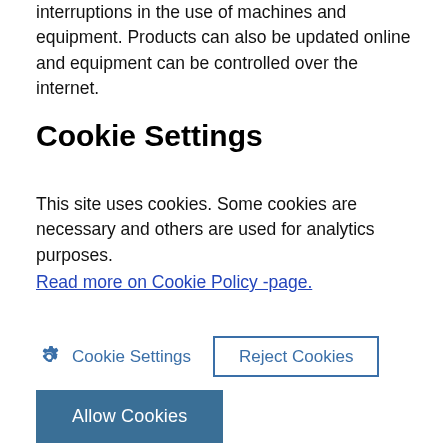interruptions in the use of machines and equipment. Products can also be updated online and equipment can be controlled over the internet.
Cookie Settings
This site uses cookies. Some cookies are necessary and others are used for analytics purposes.
Read more on Cookie Policy -page.
Cookie Settings
Reject Cookies
Allow Cookies